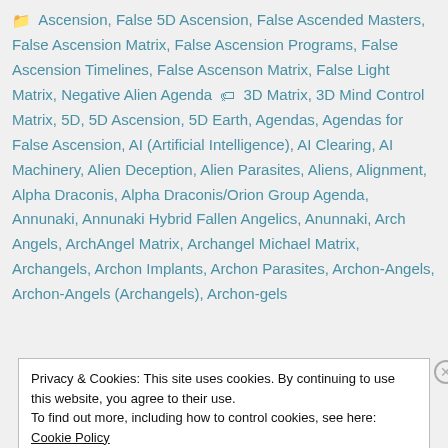Ascension, False 5D Ascension, False Ascended Masters, False Ascension Matrix, False Ascension Programs, False Ascension Timelines, False Ascenson Matrix, False Light Matrix, Negative Alien Agenda   3D Matrix, 3D Mind Control Matrix, 5D, 5D Ascension, 5D Earth, Agendas, Agendas for False Ascension, AI (Artificial Intelligence), AI Clearing, AI Machinery, Alien Deception, Alien Parasites, Aliens, Alignment, Alpha Draconis, Alpha Draconis/Orion Group Agenda, Annunaki, Annunaki Hybrid Fallen Angelics, Anunnaki, Arch Angels, ArchAngel Matrix, Archangel Michael Matrix, Archangels, Archon Implants, Archon Parasites, Archon-Angels, Archon-Angels (Archangels), Archon-gels
Privacy & Cookies: This site uses cookies. By continuing to use this website, you agree to their use.
To find out more, including how to control cookies, see here: Cookie Policy
Close and accept